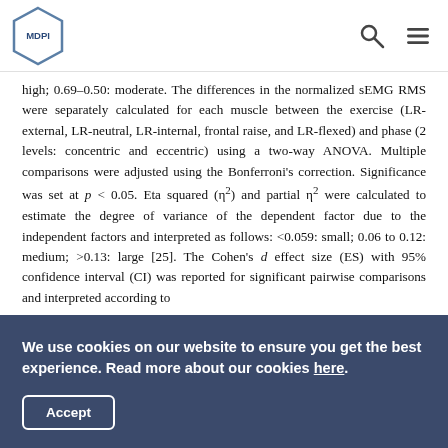MDPI logo with search and menu icons
high; 0.69–0.50: moderate. The differences in the normalized sEMG RMS were separately calculated for each muscle between the exercise (LR-external, LR-neutral, LR-internal, frontal raise, and LR-flexed) and phase (2 levels: concentric and eccentric) using a two-way ANOVA. Multiple comparisons were adjusted using the Bonferroni's correction. Significance was set at p < 0.05. Eta squared (η²) and partial η² were calculated to estimate the degree of variance of the dependent factor due to the independent factors and interpreted as follows: <0.059: small; 0.06 to 0.12: medium; >0.13: large [25]. The Cohen's d effect size (ES) with 95% confidence interval (CI) was reported for significant pairwise comparisons and interpreted according to
We use cookies on our website to ensure you get the best experience. Read more about our cookies here.
Accept